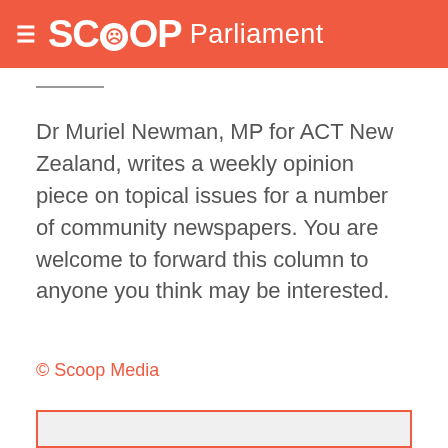SCOOP Parliament
Dr Muriel Newman, MP for ACT New Zealand, writes a weekly opinion piece on topical issues for a number of community newspapers. You are welcome to forward this column to anyone you think may be interested.
© Scoop Media